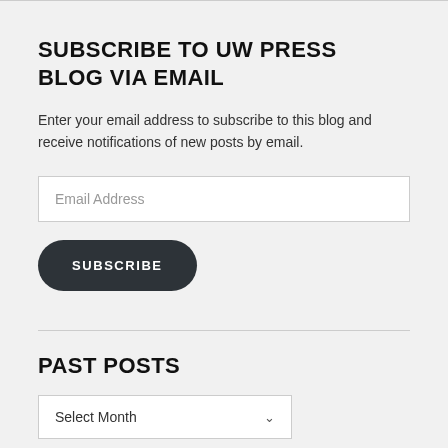SUBSCRIBE TO UW PRESS BLOG VIA EMAIL
Enter your email address to subscribe to this blog and receive notifications of new posts by email.
[Figure (screenshot): Email Address input field (text box)]
[Figure (screenshot): SUBSCRIBE button (dark rounded button)]
PAST POSTS
[Figure (screenshot): Select Month dropdown]